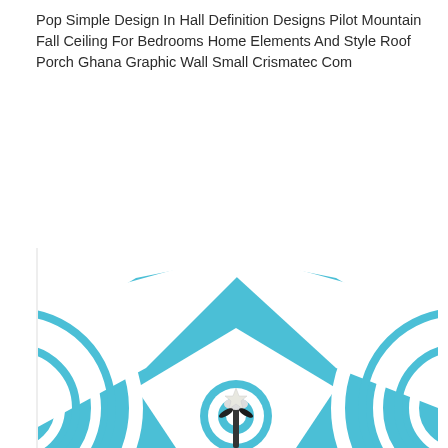Pop Simple Design In Hall Definition Designs Pilot Mountain Fall Ceiling For Bedrooms Home Elements And Style Roof Porch Ghana Graphic Wall Small Crismatec Com
[Figure (photo): A ceiling with a pop design featuring a geometric pattern in white and teal/sky-blue. The design includes triangular shapes at the top, concentric circular rings on the sides, and a central medallion with a fan/ceiling fixture in the middle. The room corner is visible showing where the ceiling meets the walls.]